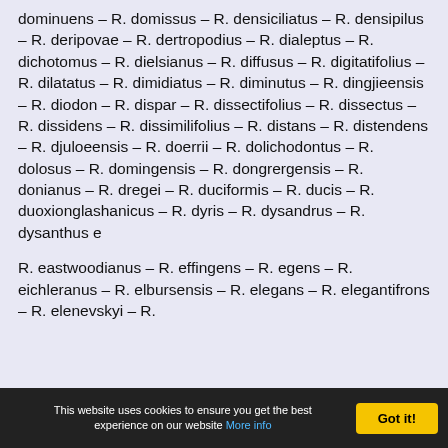dominuens – R. domissus – R. densiciliatus – R. densipilus – R. deripovae – R. dertropodius – R. dialeptus – R. dichotomus – R. dielsianus – R. diffusus – R. digitatifolius – R. dilatatus – R. dimidiatus – R. diminutus – R. dingjieensis – R. diodon – R. dispar – R. dissectifolius – R. dissectus – R. dissidens – R. dissimilifolius – R. distans – R. distendens – R. djuloeensis – R. doerrii – R. dolichodontus – R. dolosus – R. domingensis – R. dongrergensis – R. donianus – R. dregei – R. duciformis – R. ducis – R. duoxionglashanicus – R. dyris – R. dysandrus – R. dysanthus e
R. eastwoodianus – R. effingens – R. egens – R. eichleranus – R. elbursensis – R. elegans – R. elegantifrons – R. elenevskyi – R.
This website uses cookies to ensure you get the best experience on our website More info